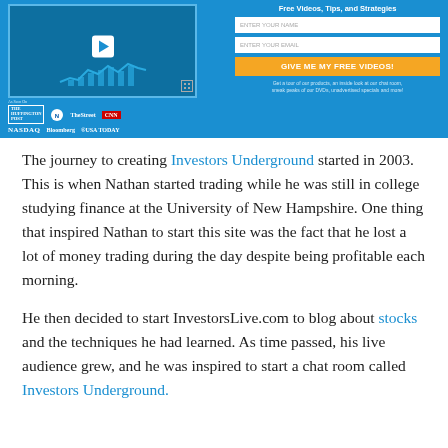[Figure (screenshot): Banner advertisement for a financial trading video service on a blue background, showing a video thumbnail on the left with media logos (Huffington Post, CNBC, TheStreet, CNN, NASDAQ, Bloomberg, USA Today), and a sign-up form on the right with fields for name and email, a yellow 'GIVE ME MY FREE VIDEOS!' button, and disclaimer text.]
The journey to creating Investors Underground started in 2003. This is when Nathan started trading while he was still in college studying finance at the University of New Hampshire. One thing that inspired Nathan to start this site was the fact that he lost a lot of money trading during the day despite being profitable each morning.
He then decided to start InvestorsLive.com to blog about stocks and the techniques he had learned. As time passed, his live audience grew, and he was inspired to start a chat room called Investors Underground.